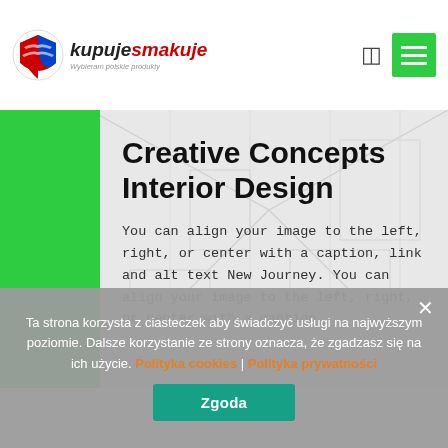kupujesmakuje — Wybieram polskie produkty
[Figure (illustration): Interior design outline wireframe drawing of a room with geometric shapes and perspective lines]
Creative Concepts Interior Design
You can align your image to the left, right, or center with a caption, link and alt text New Journey. You can align your image to the left, right, or center with a caption.
Ta strona korzysta z ciasteczek aby świadczyć usługi na najwyższym poziomie. Dalsze korzystanie ze strony oznacza, że zgadzasz się na ich użycie. Polityka cookies | Polityka prywatności
Zgoda